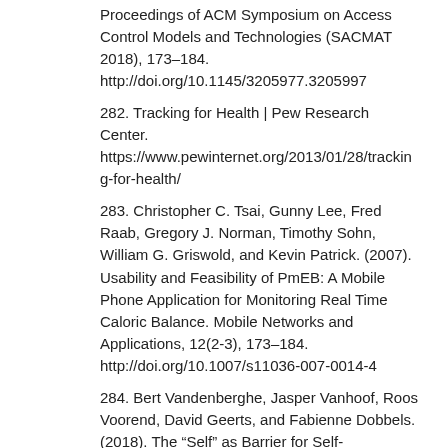Proceedings of ACM Symposium on Access Control Models and Technologies (SACMAT 2018), 173–184. http://doi.org/10.1145/3205977.3205997
282. Tracking for Health | Pew Research Center. https://www.pewinternet.org/2013/01/28/tracking-for-health/
283. Christopher C. Tsai, Gunny Lee, Fred Raab, Gregory J. Norman, Timothy Sohn, William G. Griswold, and Kevin Patrick. (2007). Usability and Feasibility of PmEB: A Mobile Phone Application for Monitoring Real Time Caloric Balance. Mobile Networks and Applications, 12(2-3), 173–184. http://doi.org/10.1007/s11036-007-0014-4
284. Bert Vandenberghe, Jasper Vanhoof, Roos Voorend, David Geerts, and Fabienne Dobbels. (2018). The “Self” as Barrier for Self-Management Technologies in Healthcare? Proceedings of the EAI International Conference on Pervasive Computing